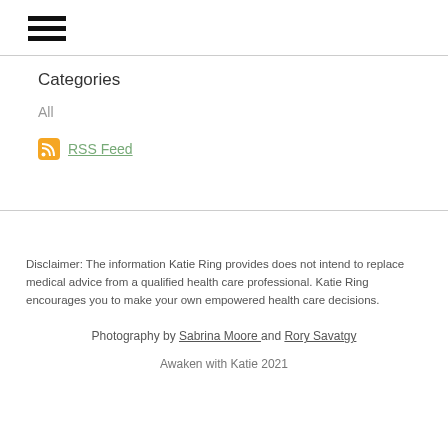☰
Categories
All
RSS Feed
Disclaimer: The information Katie Ring provides does not intend to replace medical advice from a qualified health care professional.  Katie Ring encourages you to make your own empowered health care decisions.
Photography by Sabrina Moore and Rory Savatgy
Awaken with Katie 2021